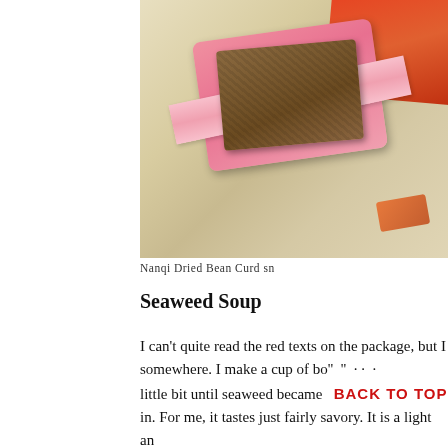[Figure (photo): Photo of Nanqi Dried Bean Curd snack — brown food blocks on a pink tray with pink ribbon and orange-red packaging, on a beige surface. Top portion visible.]
Nanqi Dried Bean Curd sn
Seaweed Soup
I can't quite read the red texts on the package, but I somewhere. I make a cup of bo'' '' · · · little bit until seaweed became BACK TO TOP in. For me, it tastes just fairly savory. It is a light an